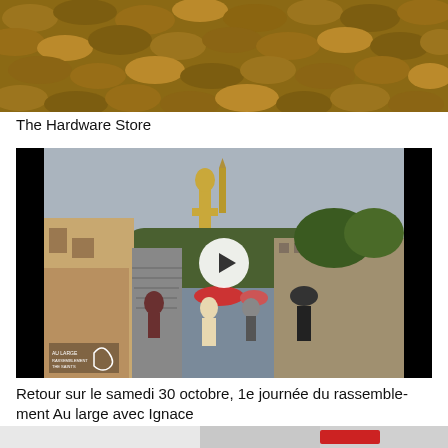[Figure (photo): Close-up photo of roof tiles or stones in brown/tan tones, cropped at top]
The Hardware Store
[Figure (photo): Video thumbnail showing people walking up a steep stairway street towards Notre-Dame de la Garde basilica in Marseille, on a cloudy day. A large white play button circle is overlaid in the center. A watermark logo is visible at the bottom left.]
Retour sur le samedi 30 octobre, 1e journée du rassemblement Au large avec Ignace
[Figure (photo): Partial photo at bottom of page, partially cropped, appears to show an interior scene]